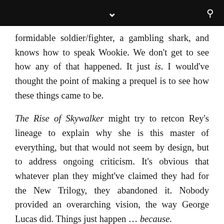formidable soldier/fighter, a gambling shark, and knows how to speak Wookie. We don't get to see how any of that happened. It just is. I would've thought the point of making a prequel is to see how these things came to be.
The Rise of Skywalker might try to retcon Rey's lineage to explain why she is this master of everything, but that would not seem by design, but to address ongoing criticism. It's obvious that whatever plan they might've claimed they had for the New Trilogy, they abandoned it. Nobody provided an overarching vision, the way George Lucas did. Things just happen … because.
Where does Rey go anyway? Luke had to face Darth Vader again – there's tension already because Vader defeated him convincingly in their one battle. Luke is also vulnerable to the Dark Side. The Emperor is waiting – he's referenced in A New Hope, seen in The Empire Strikes Back, and finally